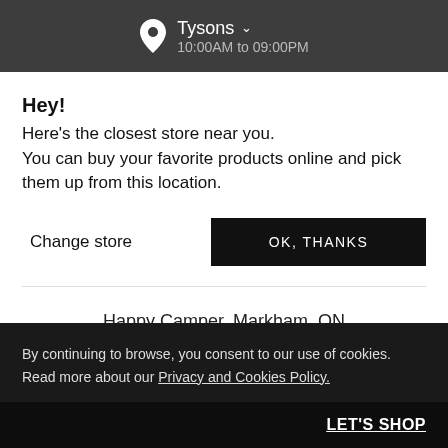Tysons ↓  10:00AM to 09:00PM
Hey!
Here's the closest store near you.
You can buy your favorite products online and pick them up from this location.
Change store
OK, THANKS
Happy Camper, Markham, ON
By continuing to browse, you consent to our use of cookies. Read more about our Privacy and Cookies Policy.
LET'S SHOP